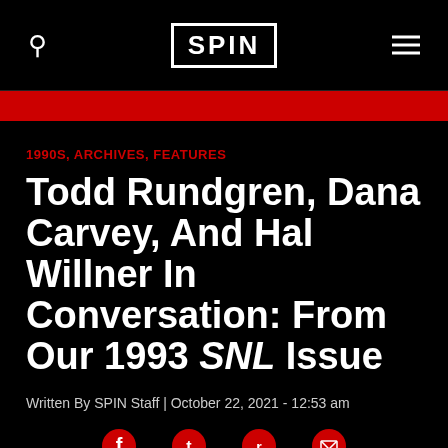SPIN
1990S, ARCHIVES, FEATURES
Todd Rundgren, Dana Carvey, And Hal Willner In Conversation: From Our 1993 SNL Issue
Written By SPIN Staff | October 22, 2021  - 12:53 am